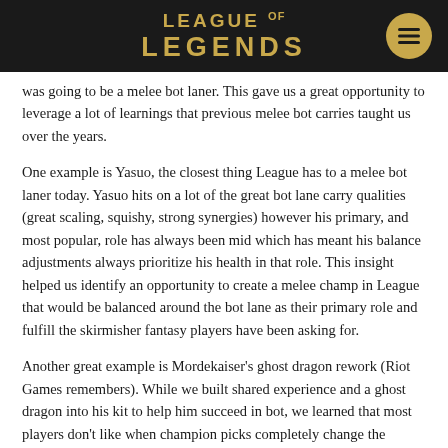LEAGUE OF LEGENDS
was going to be a melee bot laner. This gave us a great opportunity to leverage a lot of learnings that previous melee bot carries taught us over the years.
One example is Yasuo, the closest thing League has to a melee bot laner today. Yasuo hits on a lot of the great bot lane carry qualities (great scaling, squishy, strong synergies) however his primary, and most popular, role has always been mid which has meant his balance adjustments always prioritize his health in that role. This insight helped us identify an opportunity to create a melee champ in League that would be balanced around the bot lane as their primary role and fulfill the skirmisher fantasy players have been asking for.
Another great example is Mordekaiser's ghost dragon rework (Riot Games remembers). While we built shared experience and a ghost dragon into his kit to help him succeed in bot, we learned that most players don't like when champion picks completely change the dynamics of how the